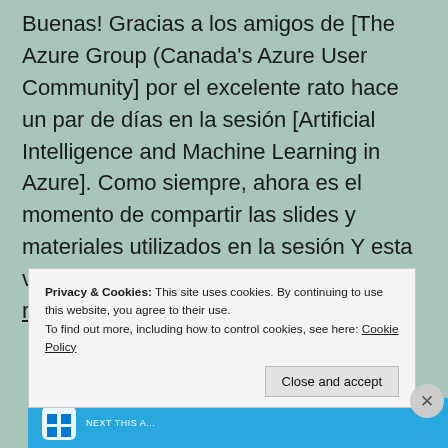Buenas! Gracias a los amigos de [The Azure Group (Canada's Azure User Community] por el excelente rato hace un par de días en la sesión [Artificial Intelligence and Machine Learning in Azure]. Como siempre, ahora es el momento de compartir las slides y materiales utilizados en la sesión Y esta vez en lugar de código,…… Continue reading
Privacy & Cookies: This site uses cookies. By continuing to use this website, you agree to their use. To find out more, including how to control cookies, see here: Cookie Policy
Close and accept